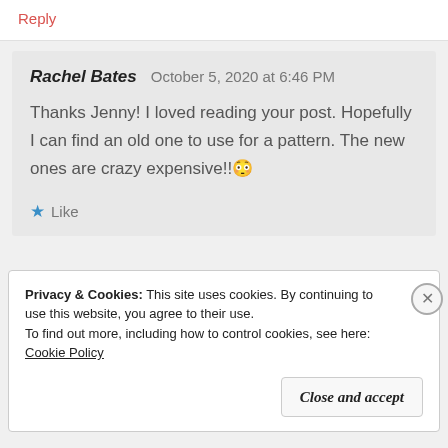Reply
Rachel Bates  October 5, 2020 at 6:46 PM
Thanks Jenny! I loved reading your post. Hopefully I can find an old one to use for a pattern. The new ones are crazy expensive!! 😳
★ Like
Privacy & Cookies: This site uses cookies. By continuing to use this website, you agree to their use.
To find out more, including how to control cookies, see here: Cookie Policy
Close and accept